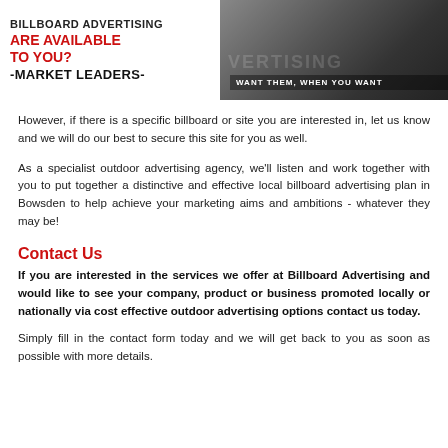[Figure (illustration): Billboard advertising banner with white left section showing text 'BILLBOARD ADVERTISING', 'ARE AVAILABLE TO YOU?', '-MARKET LEADERS-' and dark right section showing large faded text and tagline 'WANT THEM, WHEN YOU WANT']
However, if there is a specific billboard or site you are interested in, let us know and we will do our best to secure this site for you as well.
As a specialist outdoor advertising agency, we'll listen and work together with you to put together a distinctive and effective local billboard advertising plan in Bowsden to help achieve your marketing aims and ambitions - whatever they may be!
Contact Us
If you are interested in the services we offer at Billboard Advertising and would like to see your company, product or business promoted locally or nationally via cost effective outdoor advertising options contact us today.
Simply fill in the contact form today and we will get back to you as soon as possible with more details.